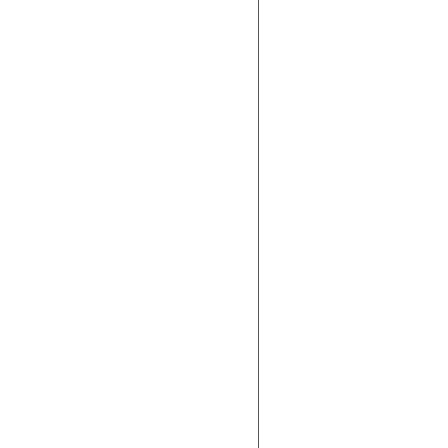[Figure (photo): Partial view of a display unit image cropped on the right side of the page, with a border on the left and bottom edges.]
2.2 x 6...
This display ... 2.2 x 6.1 ... including ... centres, a ... have a cu... assembly ... tools need... well, with ... from differ...
The di...